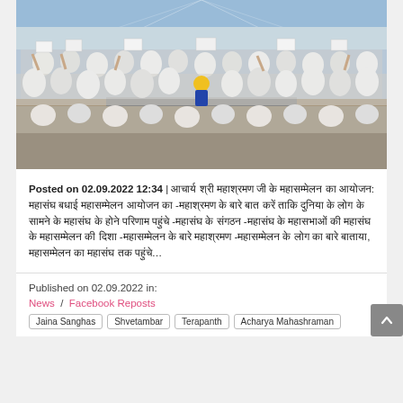[Figure (photo): A large gathering of people, mostly dressed in white, seated and standing under a large tent or canopy. Some are holding up white signs/placards. A person in a yellow outfit stands on a stage facing the crowd.]
Posted on 02.09.2022 12:34 | [Hindi text] ...
Published on 02.09.2022 in: News / Facebook Reposts
Jaina Sanghas  Shvetambar  Terapanth  Acharya Mahashraman